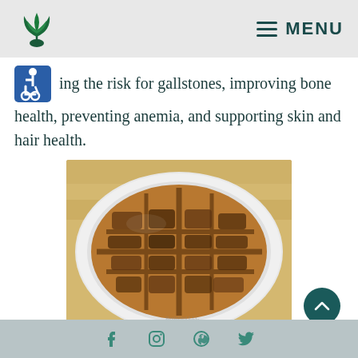MENU
ing the risk for gallstones, improving bone health, preventing anemia, and supporting skin and hair health.
[Figure (photo): A golden-brown waffle on a white plate, placed on a wooden surface, showing crisp grid pattern squares.]
Social media icons: Facebook, Instagram, Pinterest, Twitter